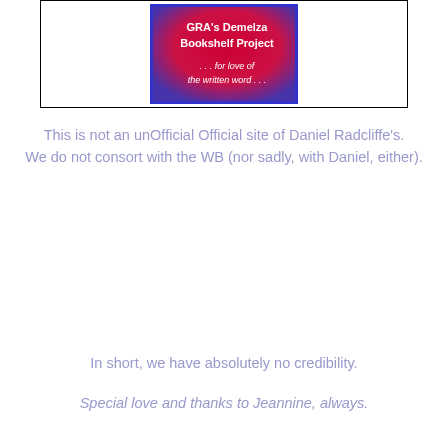[Figure (illustration): A book cover image with a red-to-purple gradient background, white text reading 'GRA's Demelza Bookshelf Project' and '... for love of the written word ...' with a blue border, contained within a thin black rectangle frame.]
This is not an unOfficial Official site of Daniel Radcliffe's. We do not consort with the WB (nor sadly, with Daniel, either).
In short, we have absolutely no credibility.
Special love and thanks to Jeannine, always.